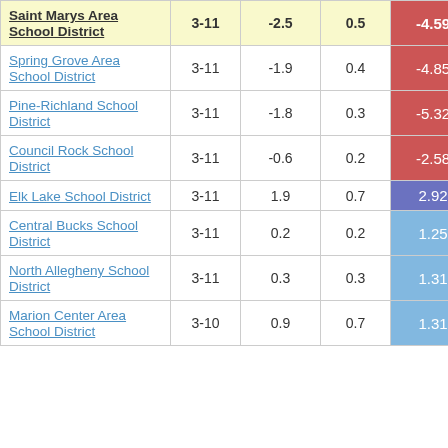| School District | Grades | Col3 | Col4 | Score |
| --- | --- | --- | --- | --- |
| Saint Marys Area School District | 3-11 | -2.5 | 0.5 | -4.59 |
| Spring Grove Area School District | 3-11 | -1.9 | 0.4 | -4.85 |
| Pine-Richland School District | 3-11 | -1.8 | 0.3 | -5.32 |
| Council Rock School District | 3-11 | -0.6 | 0.2 | -2.58 |
| Elk Lake School District | 3-11 | 1.9 | 0.7 | 2.92 |
| Central Bucks School District | 3-11 | 0.2 | 0.2 | 1.25 |
| North Allegheny School District | 3-11 | 0.3 | 0.3 | 1.31 |
| Marion Center Area School District | 3-10 | 0.9 | 0.7 | 1.31 |